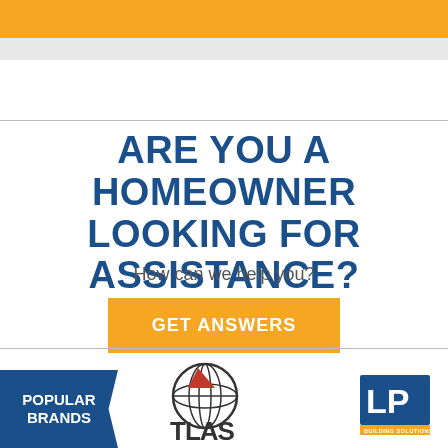[Figure (other): Orange header bar at top of page]
ARE YOU A HOMEOWNER LOOKING FOR ASSISTANCE?
How can we help you?
GET ANSWERS
[Figure (logo): Popular Brands label with blue chevron background]
[Figure (logo): Atlas Roofing logo with globe and red triangle]
[Figure (logo): LP Building Solutions logo, blue square with LP letters]